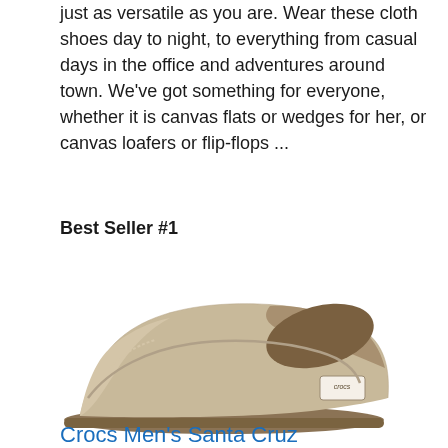just as versatile as you are. Wear these cloth shoes day to night, to everything from casual days in the office and adventures around town. We've got something for everyone, whether it is canvas flats or wedges for her, or canvas loafers or flip-flops ...
Best Seller #1
[Figure (photo): A tan/khaki canvas Crocs slip-on loafer shoe (Santa Cruz style) displayed on a white background, shown from a three-quarter angle]
Crocs Men's Santa Cruz